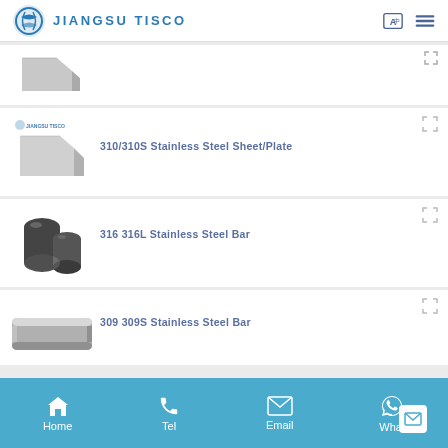[Figure (logo): Jiangsu Tisco company logo with circular blue icon and text JIANGSU TISCO]
[Figure (photo): Partial view of stainless steel sheet/plate product image]
[Figure (photo): Stainless steel sheet/plate product image with Jiangsu Tisco logo watermark]
310/310S Stainless Steel Sheet/Plate
[Figure (photo): Stainless steel bar rods, dark cylindrical bars bundled together]
316 316L Stainless Steel Bar
[Figure (photo): Partial view of stainless steel bar product]
309 309S Stainless Steel Bar
Home  Tel  Email  What